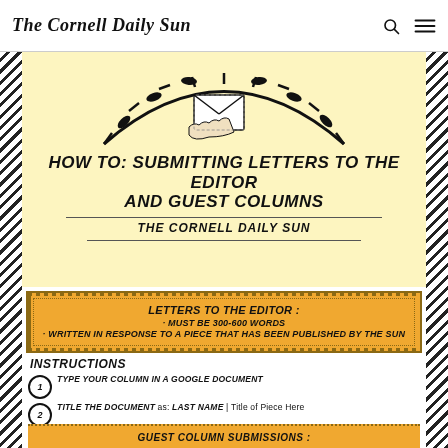The Cornell Daily Sun
[Figure (illustration): Hand holding an envelope illustration with decorative arc/dial marks above it on a yellow background]
HOW TO: SUBMITTING LETTERS TO THE EDITOR AND GUEST COLUMNS
THE CORNELL DAILY SUN
LETTERS TO THE EDITOR : · MUST BE 300-600 WORDS · WRITTEN IN RESPONSE TO A PIECE THAT HAS BEEN PUBLISHED BY THE SUN
INSTRUCTIONS
1. TYPE YOUR COLUMN IN A GOOGLE DOCUMENT
2. TITLE THE DOCUMENT as: LAST NAME | Title of Piece Here
3. SHARE THE GOOGLE DOC WITH OUR ASSOCIATE EDITOR at associate-editor@cornellsun.com
4. EMAIL OUR ASSOCIATE EDITOR AT associate-editor@cornellsun.com TO LET US KNOW THAT YOUR LETTER TO THE EDITOR HAS BEEN SUBMITTED AND IS AWAITING FEEDBACK
GUEST COLUMN SUBMISSIONS :